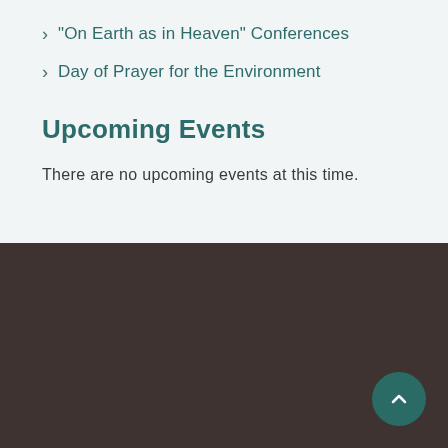"On Earth as in Heaven" Conferences
Day of Prayer for the Environment
Upcoming Events
There are no upcoming events at this time.